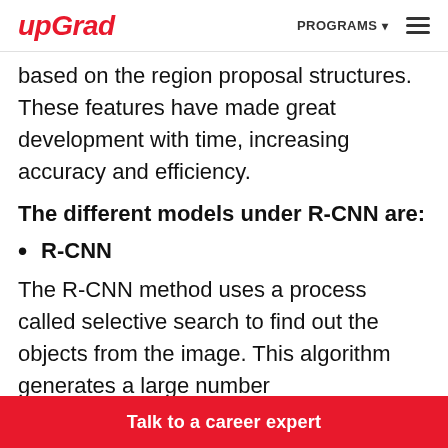upGrad | PROGRAMS ☰
based on the region proposal structures. These features have made great development with time, increasing accuracy and efficiency.
The different models under R-CNN are:
R-CNN
The R-CNN method uses a process called selective search to find out the objects from the image. This algorithm generates a large number
Talk to a career expert